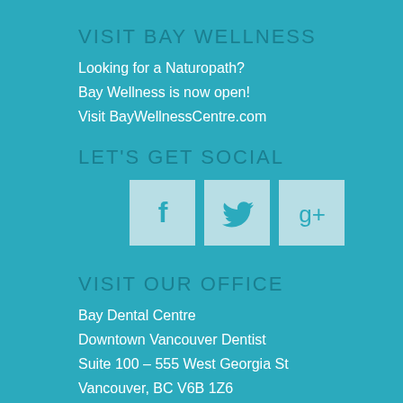VISIT BAY WELLNESS
Looking for a Naturopath?
Bay Wellness is now open!
Visit BayWellnessCentre.com
LET'S GET SOCIAL
[Figure (infographic): Three social media icon boxes: Facebook (f), Twitter (bird), Google+ (g+)]
VISIT OUR OFFICE
Bay Dental Centre
Downtown Vancouver Dentist
Suite 100 – 555 West Georgia St
Vancouver, BC V6B 1Z6